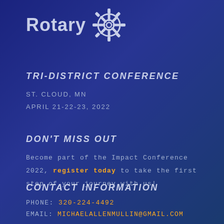[Figure (logo): Rotary logo with gear/cogwheel icon and 'Rotary' text in light grey on dark blue background]
TRI-DISTRICT CONFERENCE
ST. CLOUD, MN
APRIL 21-22-23, 2022
DON'T MISS OUT
Become part of the Impact Conference 2022, register today to take the first step of your journey with us!
CONTACT INFORMATION
PHONE: 320-224-4492
EMAIL: michaelallenmullin@gmail.com